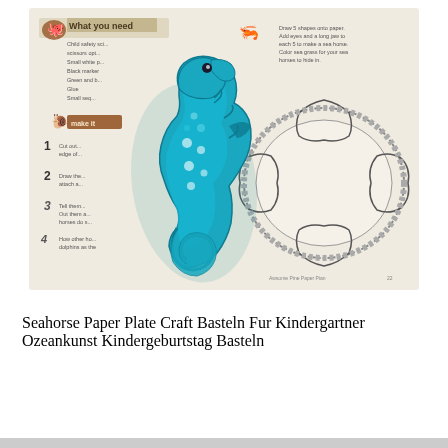[Figure (photo): A blue paper plate seahorse craft placed on top of a craft instruction book page. The seahorse is made from a painted paper plate in shades of teal and blue, decorated with sequins and glitter. Behind it is a book showing instructions with text 'What you need' and numbered steps 1-4, along with a line drawing template of seahorses forming a circle on a paper plate.]
Seahorse Paper Plate Craft Basteln Fur Kindergartner Ozeankunst Kindergeburtstag Basteln